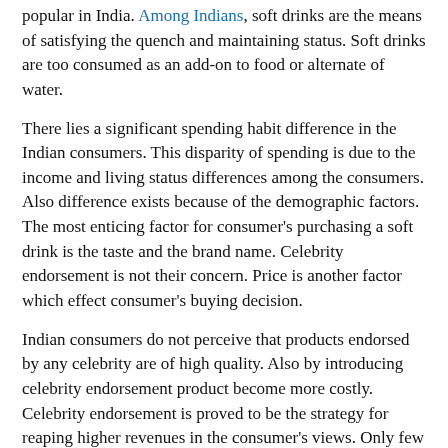popular in India. Among Indians, soft drinks are the means of satisfying the quench and maintaining status. Soft drinks are too consumed as an add-on to food or alternate of water.
There lies a significant spending habit difference in the Indian consumers. This disparity of spending is due to the income and living status differences among the consumers. Also difference exists because of the demographic factors. The most enticing factor for consumer's purchasing a soft drink is the taste and the brand name. Celebrity endorsement is not their concern. Price is another factor which effect consumer's buying decision.
Indian consumers do not perceive that products endorsed by any celebrity are of high quality. Also by introducing celebrity endorsement product become more costly. Celebrity endorsement is proved to be the strategy for reaping higher revenues in the consumer's views. Only few purchase decisions are driven backed by a celebrity endorsement. It is found that for a small value product the impact of celebrity association is not much on the purchase decision. Consumers believe that the celebrities themselves do not use those products which they endorse.
Cricketers and film stars are the most appreciated celebrities for influencing the purchasing decision of the consumers.
Before making a purchase decision of high valued products like